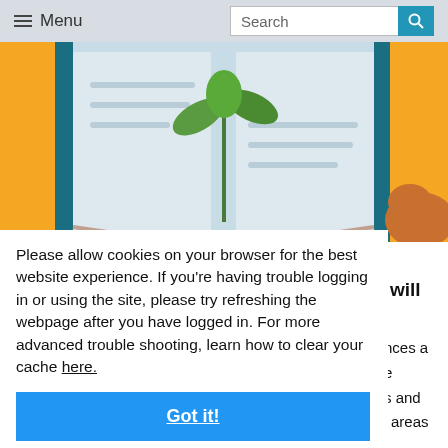≡ Menu | Search
[Figure (illustration): Illustration of an open book with a green plant/sprout growing from it, on a light blue background with orange/yellow side panels and a hand visible at the bottom right.]
Please allow cookies on your browser for the best website experience. If you're having trouble logging in or using the site, please try refreshing the webpage after you have logged in. For more advanced trouble shooting, learn how to clear your cache here.
Got it!